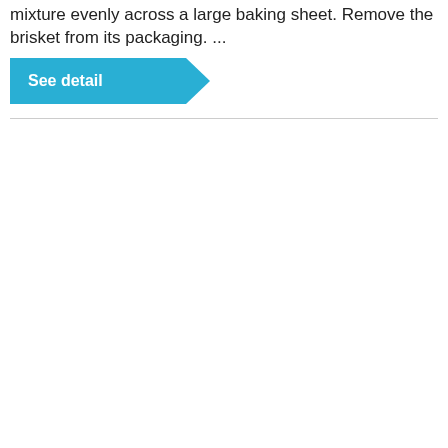mixture evenly across a large baking sheet. Remove the brisket from its packaging. ...
[Figure (other): A teal/blue ribbon-shaped button with white bold text reading 'See detail', styled with a pointed right edge suggesting a navigation or call-to-action button.]